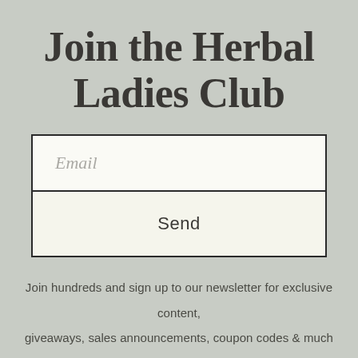Join the Herbal Ladies Club
[Figure (other): Email signup form with an email input field and a Send button, styled with black border on light cream background]
Join hundreds and sign up to our newsletter for exclusive content, giveaways, sales announcements, coupon codes & much more goodies straight to your inbox.